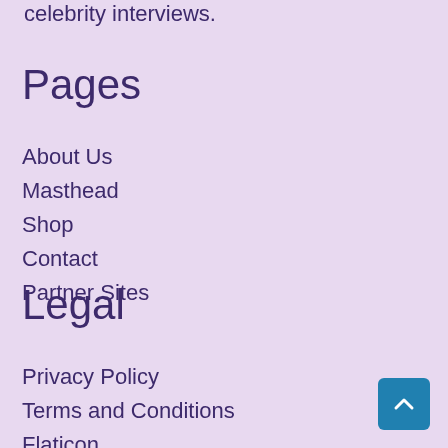celebrity interviews.
Pages
About Us
Masthead
Shop
Contact
Partner Sites
Legal
Privacy Policy
Terms and Conditions
Flaticon
[Figure (other): Back to top button arrow]